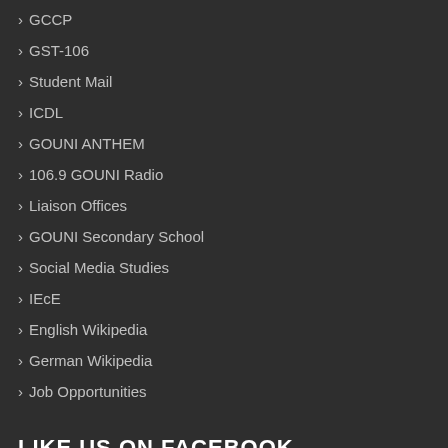› GCCP
› GST-106
› Student Mail
› ICDL
› GOUNI ANTHEM
› 106.9 GOUNI Radio
› Liaison Offices
› GOUNI Secondary School
› Social Media Studies
› IEcE
› English Wikipedia
› German Wikipedia
› Job Opportunities
LIKE US ON FACEBOOK